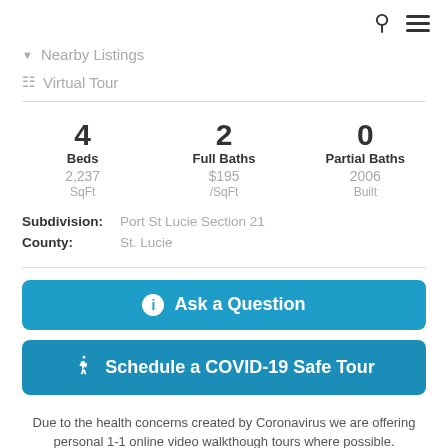Nearby Listings
Virtual Tour
4 Beds  2 Full Baths  0 Partial Baths  2,237 SqFt  $195 /SqFt  2006 Built
Subdivision: Port St Lucie Section 21
County: St. Lucie
Ask a Question
Schedule a COVID-19 Safe Tour
Due to the health concerns created by Coronavirus we are offering personal 1-1 online video walkthough tours where possible.